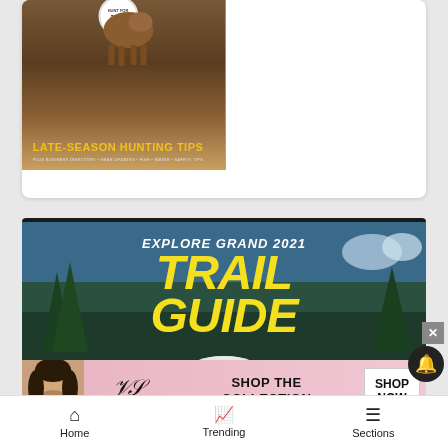[Figure (screenshot): Magazine cover card showing 2019 hunting content with badge and text 'LATE-SEASON HUNTING TIPS' in yellow on brown/earth-tone background]
[Figure (screenshot): Explore Grand 2021 Trail Guide magazine cover with large yellow text TRAIL GUIDE on forest/sky background, with a cyclist wearing a helmet visible at bottom]
[Figure (screenshot): Victoria's Secret advertisement banner with model, VS logo, 'SHOP THE COLLECTION' text, and 'SHOP NOW' button on pink background]
Home  Trending  Sections